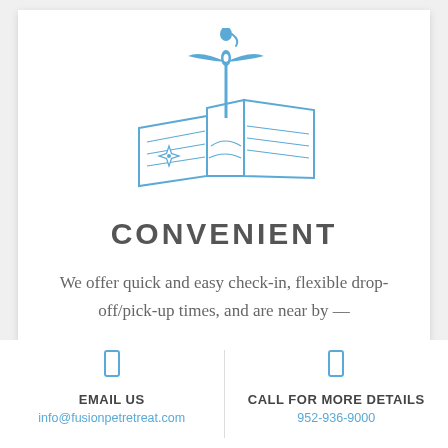[Figure (illustration): Blue line illustration of a folded map with a location pin/marker topped by a cat silhouette and bird wings, and a compass star on the left panel of the map.]
CONVENIENT
We offer quick and easy check-in, flexible drop-off/pick-up times, and are near by —
EMAIL US
info@fusionpetretreat.com
CALL FOR MORE DETAILS
952-936-9000